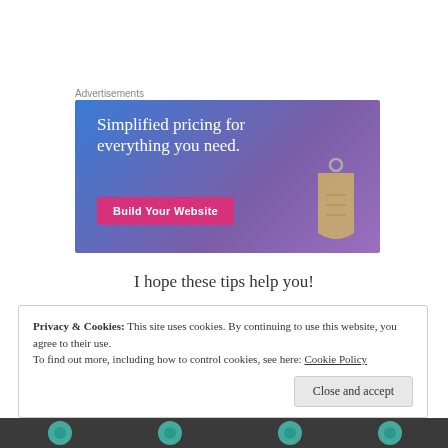Advertisements
[Figure (illustration): Advertisement banner for a website builder. Blue-to-purple gradient background with white serif text reading 'Simplified pricing for everything you need.' A pink button reads 'Build Your Website'. A price tag illustration is on the right side.]
I hope these tips help you!
Privacy & Cookies: This site uses cookies. By continuing to use this website, you agree to their use.
To find out more, including how to control cookies, see here: Cookie Policy
Close and accept
[Figure (photo): Bottom strip showing a partial image with teal/turquoise floral or decorative elements on a dark background.]